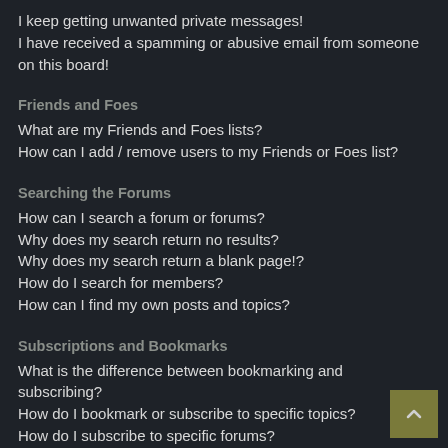I keep getting unwanted private messages!
I have received a spamming or abusive email from someone on this board!
Friends and Foes
What are my Friends and Foes lists?
How can I add / remove users to my Friends or Foes list?
Searching the Forums
How can I search a forum or forums?
Why does my search return no results?
Why does my search return a blank page!?
How do I search for members?
How can I find my own posts and topics?
Subscriptions and Bookmarks
What is the difference between bookmarking and subscribing?
How do I bookmark or subscribe to specific topics?
How do I subscribe to specific forums?
How do I remove my subscriptions?